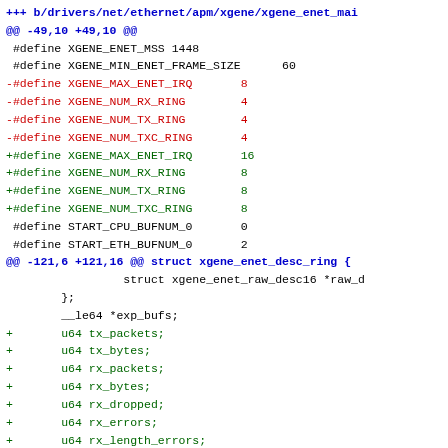+++ b/drivers/net/ethernet/apm/xgene/xgene_enet_mai
@@ -49,10 +49,10 @@
#define XGENE_ENET_MSS 1448
#define XGENE_MIN_ENET_FRAME_SIZE        60
-#define XGENE_MAX_ENET_IRQ        8
-#define XGENE_NUM_RX_RING        4
-#define XGENE_NUM_TX_RING        4
-#define XGENE_NUM_TXC_RING        4
+#define XGENE_MAX_ENET_IRQ        16
+#define XGENE_NUM_RX_RING        8
+#define XGENE_NUM_TX_RING        8
+#define XGENE_NUM_TXC_RING        8
#define START_CPU_BUFNUM_0        0
#define START_ETH_BUFNUM_0        2
@@ -121,6 +121,16 @@ struct xgene_enet_desc_ring {
struct xgene_enet_raw_desc16 *raw_d
};
__le64 *exp_bufs;
+        u64 tx_packets;
+        u64 tx_bytes;
+        u64 rx_packets;
+        u64 rx_bytes;
+        u64 rx_dropped;
+        u64 rx_errors;
+        u64 rx_length_errors;
+        u64 rx_crc_errors;
+        u64 rx_frame_errors;
+        u64 rx_fifo_errors;